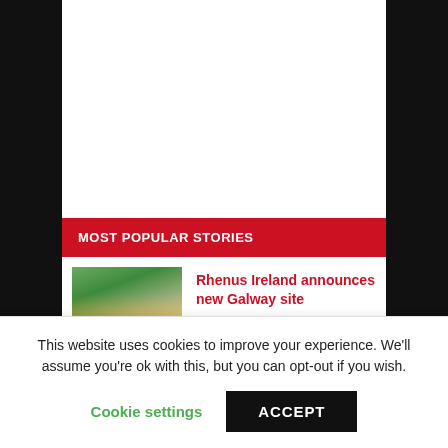MOST POPULAR STORIES
[Figure (photo): Group of people in hi-vis vests and hard hats at a groundbreaking event, with construction equipment visible in background]
Rhenus Ireland announces new Galway site
[Figure (photo): Truck or freight vehicle, grey tones]
XPO plans Lanarkshire freight hub
This website uses cookies to improve your experience. We'll assume you're ok with this, but you can opt-out if you wish.
Cookie settings
ACCEPT